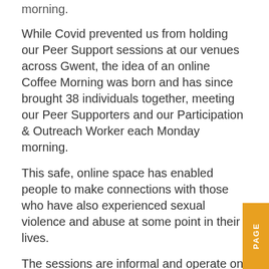morning.
While Covid prevented us from holding our Peer Support sessions at our venues across Gwent, the idea of an online Coffee Morning was born and has since brought 38 individuals together, meeting our Peer Supporters and our Participation & Outreach Worker each Monday morning.
This safe, online space has enabled people to make connections with those who have also experienced sexual violence and abuse at some point in their lives.
The sessions are informal and operate on an “as and when” basis of when you can attend.
It has been a great gateway to finding out about all our services within Horizon, as well as hosting one off guests and information sessions.
The sessions allow people to talk, message in the chat option or just listen to others as they wish.
Feedback has been that individuals have felt connected, understood and that the sessions have given them structure the mind…